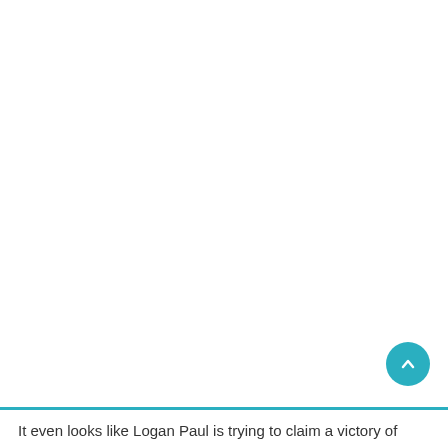It even looks like Logan Paul is trying to claim a victory of